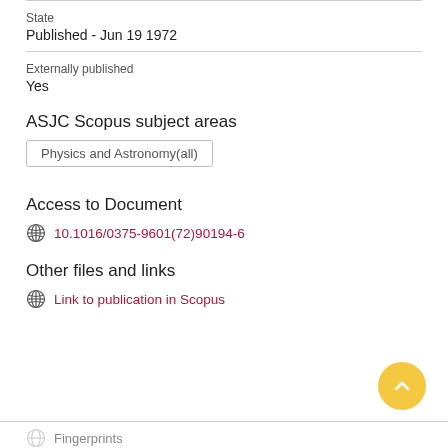State
Published - Jun 19 1972
Externally published
Yes
ASJC Scopus subject areas
Physics and Astronomy(all)
Access to Document
10.1016/0375-9601(72)90194-6
Other files and links
Link to publication in Scopus